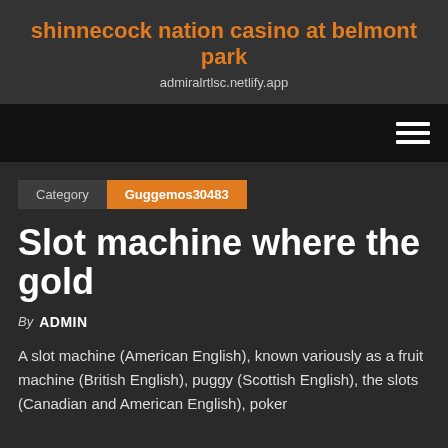shinnecock nation casino at belmont park
admiralrtlsc.netlify.app
[Figure (other): Navigation bar with hamburger menu icon (three horizontal lines) on the right]
Category  Guggemos30483
Slot machine where the gold
By ADMIN
A slot machine (American English), known variously as a fruit machine (British English), puggy (Scottish English), the slots (Canadian and American English), poker